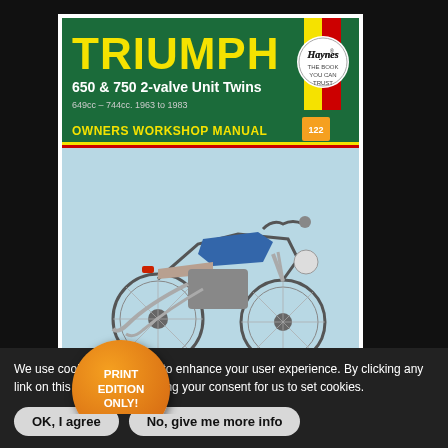[Figure (photo): Haynes Owners Workshop Manual cover for Triumph 650 & 750 2-valve Unit Twins (649cc - 744cc, 1963 to 1983) showing a classic Triumph motorcycle on a light blue background, with green cover design, yellow TRIUMPH title text, Haynes logo badge, vertical color stripes (yellow, red, green), and an orange 'PRINT EDITION ONLY!' badge overlaid on the lower left of the cover.]
We use cookies on this site to enhance your user experience. By clicking any link on this page you are giving your consent for us to set cookies.
OK, I agree
No, give me more info